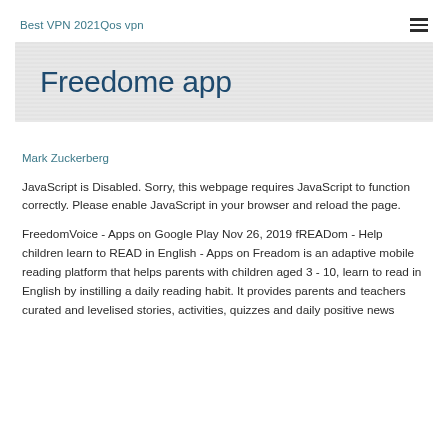Best VPN 2021Qos vpn
Freedome app
Mark Zuckerberg
JavaScript is Disabled. Sorry, this webpage requires JavaScript to function correctly. Please enable JavaScript in your browser and reload the page.
FreedomVoice - Apps on Google Play Nov 26, 2019 fREADom - Help children learn to READ in English - Apps on Freadom is an adaptive mobile reading platform that helps parents with children aged 3 - 10, learn to read in English by instilling a daily reading habit. It provides parents and teachers curated and levelised stories, activities, quizzes and daily positive news